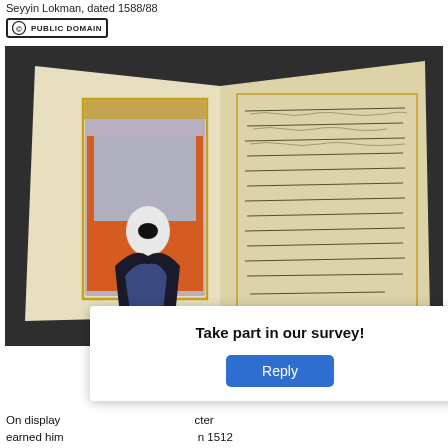Seyyin Lokman, dated 1588/88
[Figure (logo): Public Domain badge icon with copyright symbol and 'PUBLIC DOMAIN' text]
[Figure (photo): Photograph of an open Ottoman manuscript book displayed in a case. The left page shows a miniature painting of a robed figure in a white turban seated before an orange background with gold border decoration. The right page shows calligraphic Arabic/Ottoman Turkish script text in columns with gold ruling borders.]
Take part in our survey!
Reply
On display... character earned him... 1512